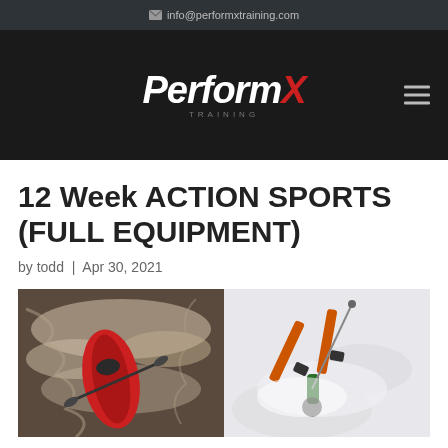info@performxtraining.com
[Figure (logo): PerformX Training logo in white and red italic text on black background, with hamburger menu icon]
12 Week ACTION SPORTS (FULL EQUIPMENT)
by todd | Apr 30, 2021
[Figure (photo): Two action sports photos side by side: left shows a kayaker in red kayak on white water rapids, right shows a skier falling/skiing in deep snow with skis visible]